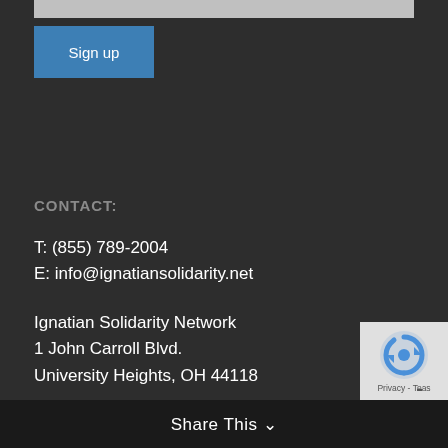[Figure (other): Gray input field bar at top of page]
Sign up
CONTACT:
T: (855) 789-2004
E: info@ignatiansolidarity.net
Ignatian Solidarity Network
1 John Carroll Blvd.
University Heights, OH 44118
[Figure (other): reCAPTCHA badge with logo and Privacy - Terms text]
Share This ∨